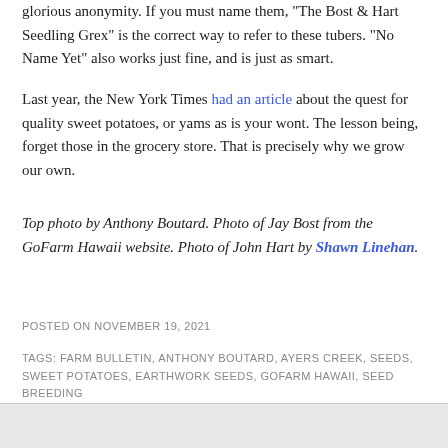glorious anonymity. If you must name them, "The Bost & Hart Seedling Grex" is the correct way to refer to these tubers. "No Name Yet" also works just fine, and is just as smart.
Last year, the New York Times had an article about the quest for quality sweet potatoes, or yams as is your wont. The lesson being, forget those in the grocery store. That is precisely why we grow our own.
Top photo by Anthony Boutard. Photo of Jay Bost from the GoFarm Hawaii website. Photo of John Hart by Shawn Linehan.
POSTED ON NOVEMBER 19, 2021
TAGS: FARM BULLETIN, ANTHONY BOUTARD, AYERS CREEK, SEEDS, SWEET POTATOES, EARTHWORK SEEDS, GOFARM HAWAII, SEED BREEDING